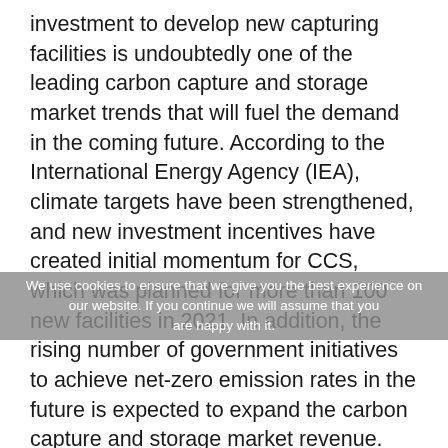investment to develop new capturing facilities is undoubtedly one of the leading carbon capture and storage market trends that will fuel the demand in the coming future. According to the International Energy Agency (IEA), climate targets have been strengthened, and new investment incentives have created initial momentum for CCS, which was planned for more than 100 new facilities in 2021. In addition, the rising number of government initiatives to achieve net-zero emission rates in the future is expected to expand the carbon capture and storage market revenue. CCS technology will be crucial in meeting net-zero goals because it is one of the only options for decreasing heavy industry emissions and extracting carbon from the environment. According to the IEA, despite recent advances, the planned pipeline of projects falls short of the 1.7 billion tons of CO2 capture capacity